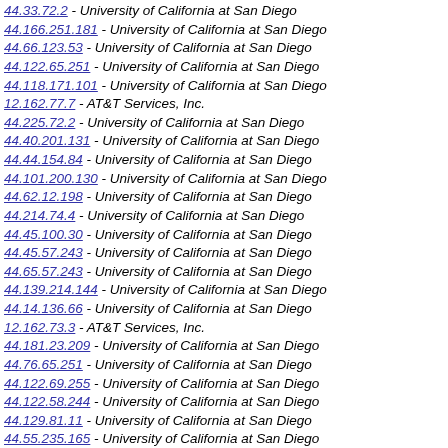44.33.72.2 - University of California at San Diego
44.166.251.181 - University of California at San Diego
44.66.123.53 - University of California at San Diego
44.122.65.251 - University of California at San Diego
44.118.171.101 - University of California at San Diego
12.162.77.7 - AT&T Services, Inc.
44.225.72.2 - University of California at San Diego
44.40.201.131 - University of California at San Diego
44.44.154.84 - University of California at San Diego
44.101.200.130 - University of California at San Diego
44.62.12.198 - University of California at San Diego
44.214.74.4 - University of California at San Diego
44.45.100.30 - University of California at San Diego
44.45.57.243 - University of California at San Diego
44.65.57.243 - University of California at San Diego
44.139.214.144 - University of California at San Diego
44.14.136.66 - University of California at San Diego
12.162.73.3 - AT&T Services, Inc.
44.181.23.209 - University of California at San Diego
44.76.65.251 - University of California at San Diego
44.122.69.255 - University of California at San Diego
44.122.58.244 - University of California at San Diego
44.129.81.11 - University of California at San Diego
44.55.235.165 - University of California at San Diego
44.70.76.6 - University of California at San Diego
44.141.237.167 - University of California at San Diego
44.178.7.193 - University of California at San Diego
44.197.7.193 - University of California at San Diego
44.66.17.203 - University of California at San Diego
44.189.164.94 - University of California at San Diego